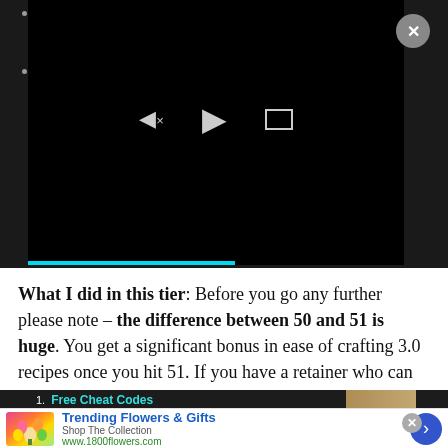Archa... No...
Archa... ) Not bad if...
[Figure (screenshot): Video player overlay with dark background, mute/volume icon, play button, expand/fullscreen icon, and cyan progress bar at bottom. A circular close (X) button appears in the top right corner.]
What I did in this tier: Before you go any further please note – the difference between 50 and 51 is huge. You get a significant bonus in ease of crafting 3.0 recipes once you hit 51. If you have a retainer who can do ventures, may as well get a few Archaeornis Skin.
[Figure (screenshot): Bottom dark bar showing 'Free Cheat Codes' text in cyan and a food/pastry image on the right side, partially visible.]
[Figure (screenshot): Advertisement banner for '1800flowers.com' showing Trending Flowers & Gifts, Shop The Collection, www.1800flowers.com, with a flower bouquet image on the left and a blue arrow circle on the right. A close X button is visible.]